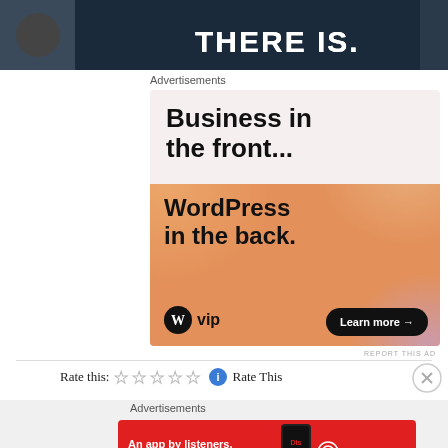[Figure (photo): Dark background photo with bold white text reading 'THERE IS.' partially visible at top of page]
Advertisements
[Figure (illustration): WordPress VIP advertisement: 'Business in the front... WordPress in the back.' with colorful gradient background, WordPress VIP logo, and 'Learn more' button]
REPORT THIS AD
Rate this: ☆☆☆☆☆ ℹ Rate This
Advertisements
[Figure (illustration): Pocket Casts advertisement: 'An app by listeners, for listeners.' on red background with phone image and Pocket Casts logo]